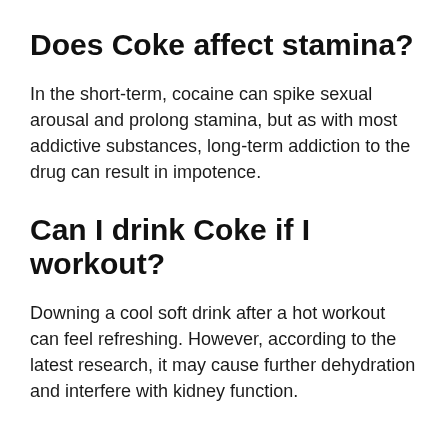Does Coke affect stamina?
In the short-term, cocaine can spike sexual arousal and prolong stamina, but as with most addictive substances, long-term addiction to the drug can result in impotence.
Can I drink Coke if I workout?
Downing a cool soft drink after a hot workout can feel refreshing. However, according to the latest research, it may cause further dehydration and interfere with kidney function.